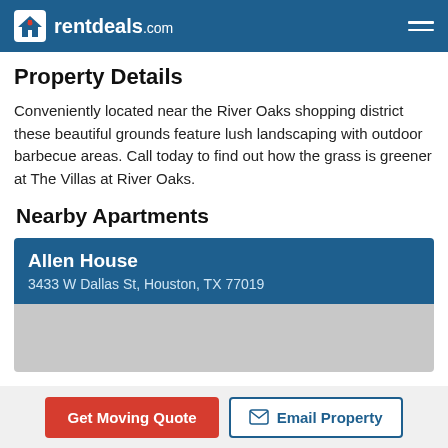rentdeals.com
Property Details
Conveniently located near the River Oaks shopping district these beautiful grounds feature lush landscaping with outdoor barbecue areas. Call today to find out how the grass is greener at The Villas at River Oaks.
Nearby Apartments
Allen House
3433 W Dallas St, Houston, TX 77019
Get Moving Quote | Email Property